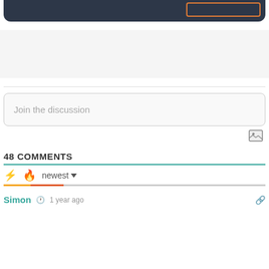[Figure (screenshot): Dark rounded header bar with an orange-bordered button on the right]
[Figure (screenshot): Gray section background area]
Join the discussion
[Figure (other): Image/photo upload icon button]
48 COMMENTS
[Figure (infographic): Sort icons: lightning bolt (orange), fire (red-orange), and newest dropdown with progress bars]
Simon  1 year ago